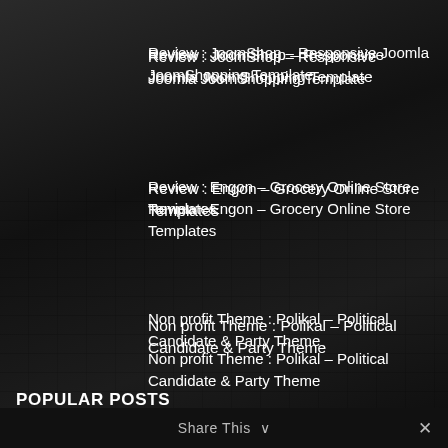Review : JoomShop – Responsive Joomla JoomShopping Template
Review : Engon – Grocery Online Store Templates
Non profit Theme : Polikal – Political Candidate & Party Theme
POPULAR POSTS
Creative Theme : Ohio – Creative Portfolio & Agency WordPress Theme
Share This ∨  ✕